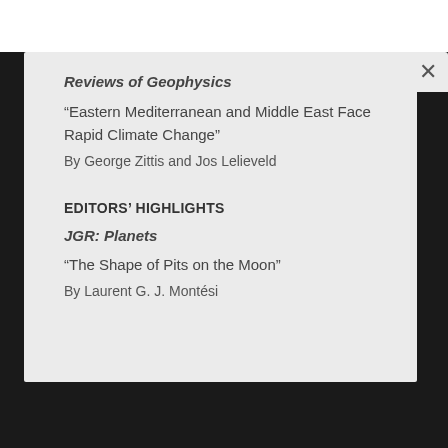Reviews of Geophysics
“Eastern Mediterranean and Middle East Face Rapid Climate Change”
By George Zittis and Jos Lelieveld
EDITORS' HIGHLIGHTS
JGR: Planets
“The Shape of Pits on the Moon”
By Laurent G. J. Montési